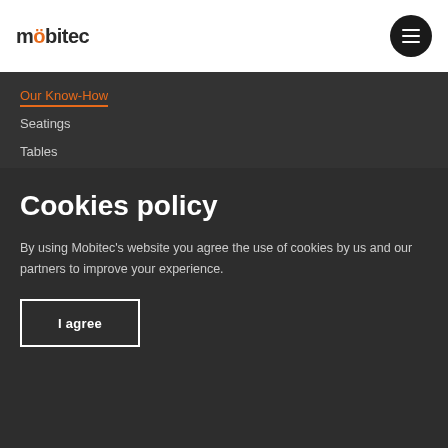mobitec
Our Know-How
Seatings
Tables
Cookies policy
By using Mobitec's website you agree the use of cookies by us and our partners to improve your experience.
I agree